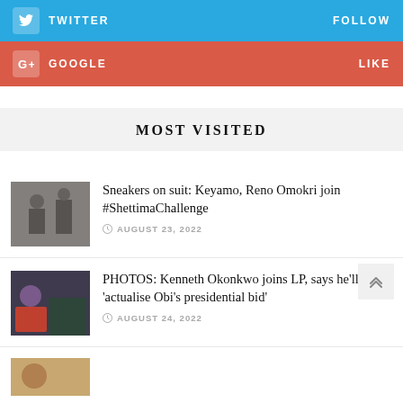TWITTER  FOLLOW
GOOGLE  LIKE
MOST VISITED
Sneakers on suit: Keyamo, Reno Omokri join #ShettimaChallenge
AUGUST 23, 2022
PHOTOS: Kenneth Okonkwo joins LP, says he'll help 'actualise Obi's presidential bid'
AUGUST 24, 2022